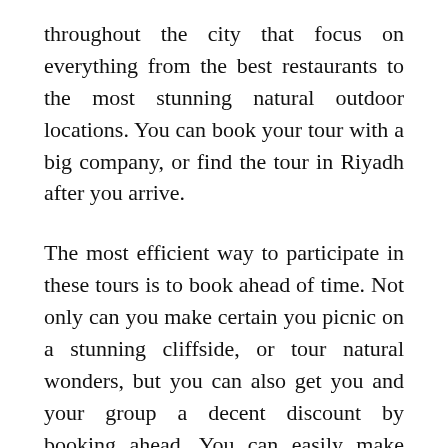throughout the city that focus on everything from the best restaurants to the most stunning natural outdoor locations. You can book your tour with a big company, or find the tour in Riyadh after you arrive.
The most efficient way to participate in these tours is to book ahead of time. Not only can you make certain you picnic on a stunning cliffside, or tour natural wonders, but you can also get you and your group a decent discount by booking ahead. You can easily make money while you travel, but spending it all on a tour is NOT the way to go!